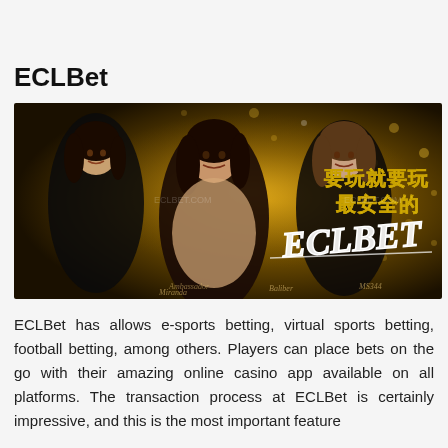ECLBet
[Figure (photo): ECLBet promotional banner showing three women in black outfits against a golden bokeh background, with Chinese text reading 要玩就要玩最安全的 and the ECLBET logo in stylized script. Watermark text eclbet.com is visible.]
ECLBet has allows e-sports betting, virtual sports betting, football betting, among others. Players can place bets on the go with their amazing online casino app available on all platforms. The transaction process at ECLBet is certainly impressive, and this is the most important feature